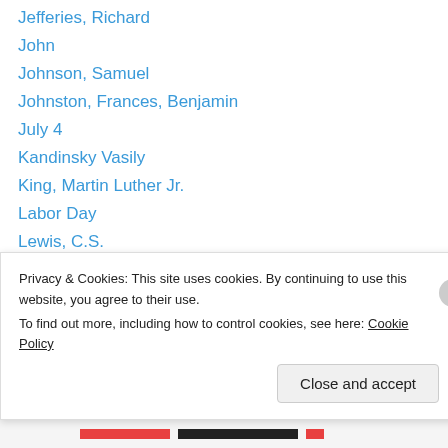Jefferies, Richard
John
Johnson, Samuel
Johnston, Frances, Benjamin
July 4
Kandinsky Vasily
King, Martin Luther Jr.
Labor Day
Lewis, C.S.
Lincoln, Abraham
Locke, John
Mark Twain
Memorial Day
Milne, A. A.
Privacy & Cookies: This site uses cookies. By continuing to use this website, you agree to their use. To find out more, including how to control cookies, see here: Cookie Policy